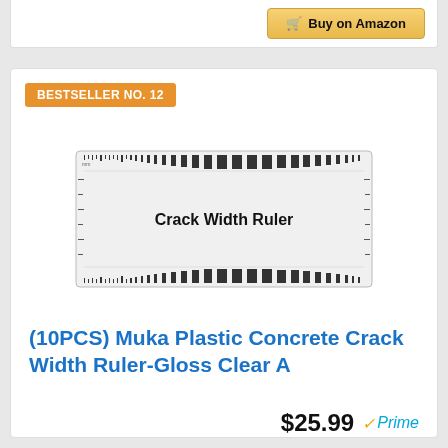[Figure (screenshot): Buy on Amazon button at top of page]
BESTSELLER NO. 12
[Figure (photo): Crack Width Ruler - a clear plastic ruler showing crack width measurements]
(10PCS) Muka Plastic Concrete Crack Width Ruler-Gloss Clear A
$25.99 Prime
Buy on Amazon